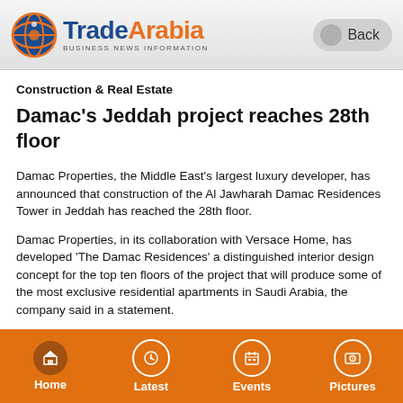TradeArabia BUSINESS NEWS INFORMATION | Back
Construction & Real Estate
Damac's Jeddah project reaches 28th floor
Damac Properties, the Middle East's largest luxury developer, has announced that construction of the Al Jawharah Damac Residences Tower in Jeddah has reached the 28th floor.
Damac Properties, in its collaboration with Versace Home, has developed 'The Damac Residences' a distinguished interior design concept for the top ten floors of the project that will produce some of the most exclusive residential apartments in Saudi Arabia, the company said in a statement.
Work was recently completed on the Versace Home designed dedicated lobby to the Damac Residences.
At the entrance to the impressive double-height Grand Lobby, the
Home | Latest | Events | Pictures